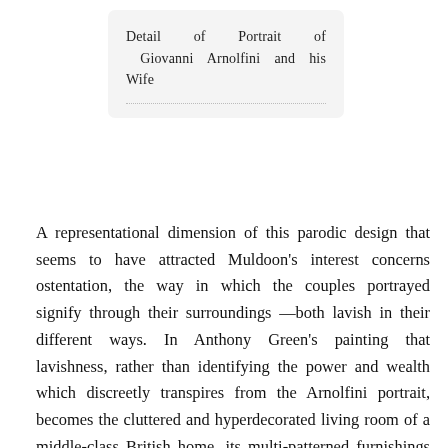Detail of Portrait of Giovanni Arnolfini and his Wife
A representational dimension of this parodic design that seems to have attracted Muldoon's interest concerns ostentation, the way in which the couples portrayed signify through their surroundings —both lavish in their different ways. In Anthony Green's painting that lavishness, rather than identifying the power and wealth which discreetly transpires from the Arnolfini portrait, becomes the cluttered and hyperdecorated living room of a middle-class British home, its multi-patterned furnishings and linings flashing in a riot of reds and yellows. This is in fact magnified by Green's naïf (or rather, faux-naïf) style — which institutes a comfortable distance between his figurative art and anything that might resemble a